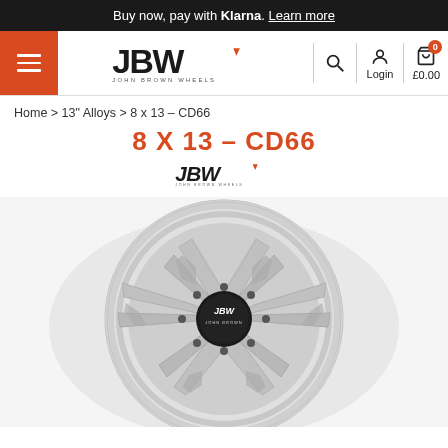Buy now, pay with Klarna. Learn more
[Figure (logo): JBW John Brown Wheels logo in header navigation bar with hamburger menu, search icon, login icon, and cart showing £0.00]
Home > 13" Alloys > 8 x 13 - CD66
8 X 13 - CD66
[Figure (logo): JBW John Brown Wheels brand logo in italic style]
[Figure (photo): Silver alloy wheel 8x13 CD66 with JBW center cap, featuring a multi-spoke design with rectangular vents between spokes]